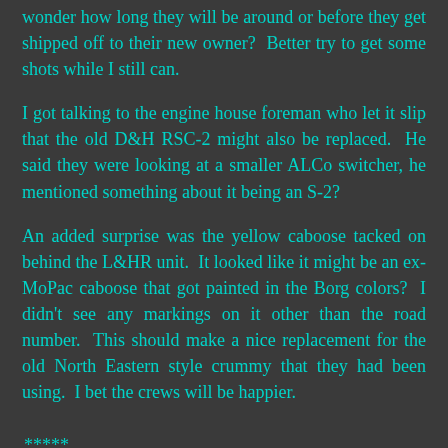wonder how long they will be around or before they get shipped off to their new owner?  Better try to get some shots while I still can.
I got talking to the engine house foreman who let it slip that the old D&H RSC-2 might also be replaced.  He said they were looking at a smaller ALCo switcher, he mentioned something about it being an S-2?
An added surprise was the yellow caboose tacked on behind the L&HR unit.  It looked like it might be an ex-MoPac caboose that got painted in the Borg colors?  I didn't see any markings on it other than the road number.  This should make a nice replacement for the old North Eastern style crummy that they had been using.  I bet the crews will be happier.
*****